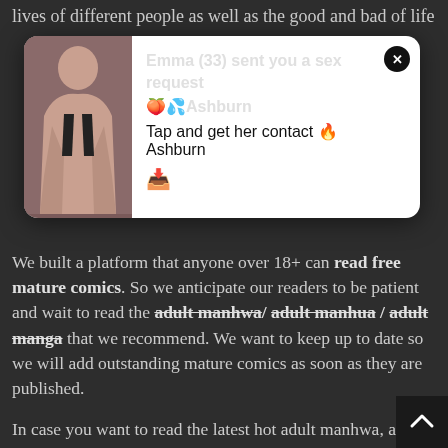lives of different people as well as the good and bad of life
[Figure (screenshot): Adult advertisement popup with an image of a woman on the left and text: 'Emma (33) sent you a sex request 🍑💦Ashburn. Tap and get her contact 🔥Ashburn 📥' with a close button (x) in the top right corner.]
We built a platform that anyone over 18+ can read free mature comics. So we anticipate our readers to be patient and wait to read the adult manhwa/ adult manhua / adult manga that we recommend. We want to keep up to date so we will add outstanding mature comics as soon as they are published.
In case you want to read the latest hot adult manhwa, adult manga, download our Webhentai app right away, including not only adult webtoon but also American adult comics, Including Milftoon, Welcomix, Jabcomix, Velamma, CrazyXXX3Dworld, OrgyMania (SlipShine), Dukes Hardcore Honeys ...
Webhentai is a typical Manhwa Hentai. With our little effort to make the experience better